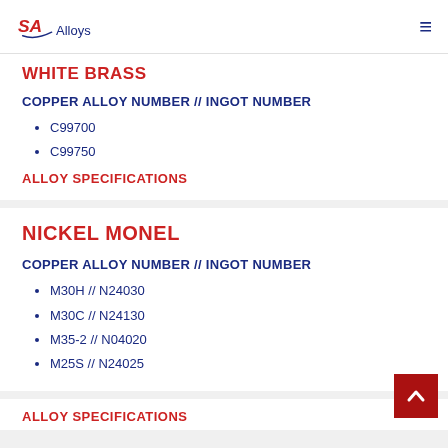SA Alloys
WHITE BRASS
COPPER ALLOY NUMBER // INGOT NUMBER
C99700
C99750
ALLOY SPECIFICATIONS
NICKEL MONEL
COPPER ALLOY NUMBER // INGOT NUMBER
M30H // N24030
M30C // N24130
M35-2 // N04020
M25S // N24025
ALLOY SPECIFICATIONS